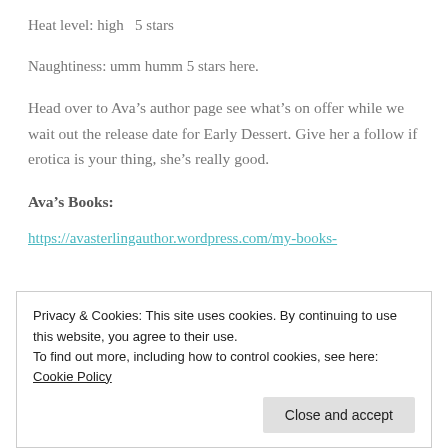Heat level: high  5 stars
Naughtiness: umm humm 5 stars here.
Head over to Ava’s author page see what’s on offer while we wait out the release date for Early Dessert. Give her a follow if erotica is your thing, she’s really good.
Ava’s Books:
https://avasterlingauthor.wordpress.com/my-books-
Privacy & Cookies: This site uses cookies. By continuing to use this website, you agree to their use.
To find out more, including how to control cookies, see here:
Cookie Policy
Close and accept